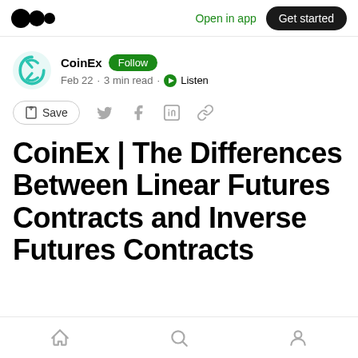Open in app  Get started
CoinEx  Follow
Feb 22 · 3 min read · Listen
Save
CoinEx | The Differences Between Linear Futures Contracts and Inverse Futures Contracts
Home  Search  Profile